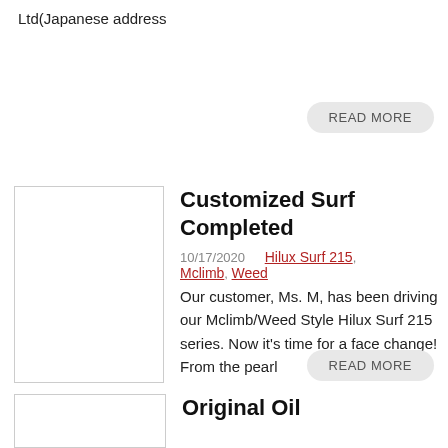Ltd(Japanese address
READ MORE
Customized Surf Completed
10/17/2020   Hilux Surf 215, Mclimb, Weed
Our customer, Ms. M, has been driving our Mclimb/Weed Style Hilux Surf 215 series. Now it's time for a face change! From the pearl LA Style to a steel look, giving it a more sturdy feel. The chrome parts painted matte black, changed the front suspension, kitted the steel bumper and hitch member~~ It took
READ MORE
Original Oil